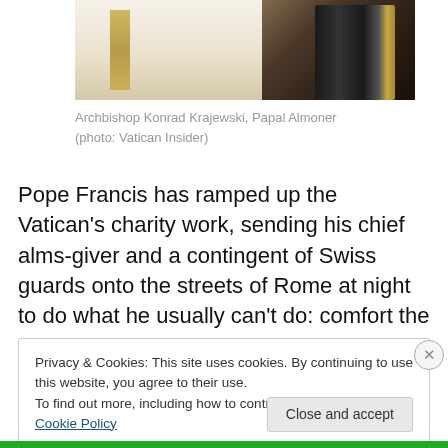[Figure (photo): Partial view of Archbishop Konrad Krajewski in white liturgical vestments with gold trim, with a microphone stand visible to the right and dark background.]
Archbishop Konrad Krajewski, Papal Almoner (photo: Vatican Insider)
Pope Francis has ramped up the Vatican's charity work, sending his chief alms-giver and a contingent of Swiss guards onto the streets of Rome at night to do what he usually can't do: comfort the poor and the homeless.
Privacy & Cookies: This site uses cookies. By continuing to use this website, you agree to their use.
To find out more, including how to control cookies, see here: Cookie Policy